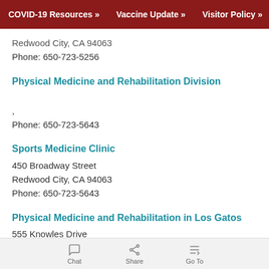COVID-19 Resources »   Vaccine Update »   Visitor Policy »
Redwood City, CA 94063
Phone: 650-723-5256
Physical Medicine and Rehabilitation Division
,
Phone: 650-723-5643
Sports Medicine Clinic
450 Broadway Street
Redwood City, CA 94063
Phone: 650-723-5643
Physical Medicine and Rehabilitation in Los Gatos
555 Knowles Drive
Suite 211